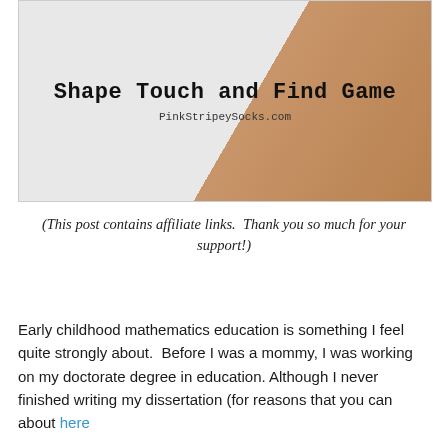[Figure (photo): Header image for blog post showing 'Shape Touch and Find Game' title text in monospace font over a light gray background with a brown paper bag visible on the right side. URL PinkStripeySocks.com shown below the title.]
(This post contains affiliate links.  Thank you so much for your support!)
Early childhood mathematics education is something I feel quite strongly about.  Before I was a mommy, I was working on my doctorate degree in education. Although I never finished writing my dissertation (for reasons that you can about here